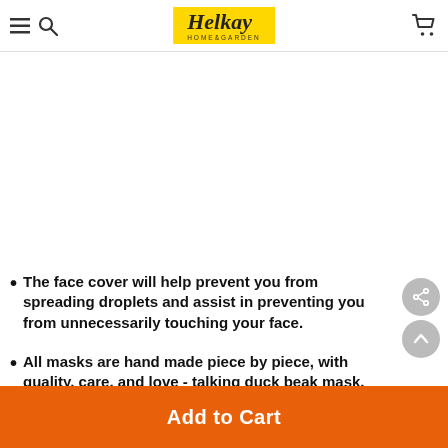Helkay HOME&GARDEN
The face cover will help prevent you from spreading droplets and assist in preventing you from unnecessarily touching your face.
All masks are hand made piece by piece, with quality, care, and love - talking duck beak mask.
Add to Cart